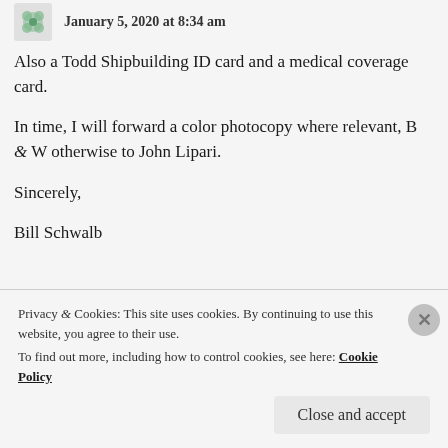January 5, 2020 at 8:34 am
Also a Todd Shipbuilding ID card and a medical coverage card.
In time, I will forward a color photocopy where relevant, B & W otherwise to John Lipari.
Sincerely,
Bill Schwalb
★ Like
Privacy & Cookies: This site uses cookies. By continuing to use this website, you agree to their use. To find out more, including how to control cookies, see here: Cookie Policy
Close and accept